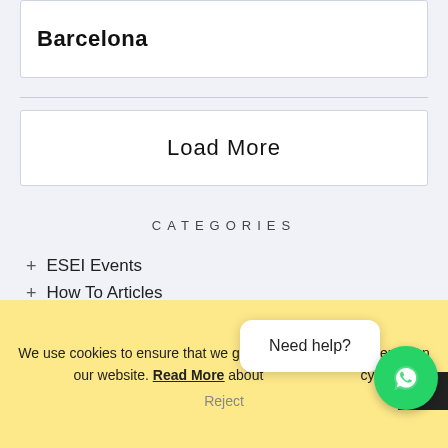Barcelona
Load More
CATEGORIES
+ ESEI Events
+ How To Articles
+ ESEI Alumni
+ Faculty
+ Humans of ESEI
+ Students Life
We use cookies to ensure that we give you the best experience on our website. Read More about our privacy policy
Reject